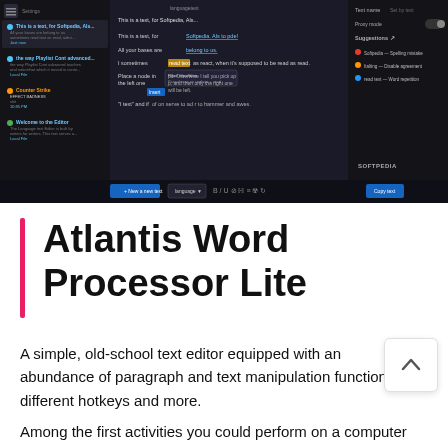[Figure (screenshot): Screenshot of the Atlantis Word Processor Lite application showing a dark-themed UI with a left sidebar listing documents, a main editor area with sample text including highlighted and underlined text, autocomplete popup, and a right panel showing tool settings and suggestions. Bottom toolbar with formatting buttons. SOFTPEDIA watermark visible.]
Atlantis Word Processor Lite
A simple, old-school text editor equipped with an abundance of paragraph and text manipulation functions, different hotkeys and more.
Among the first activities you could perform on a computer